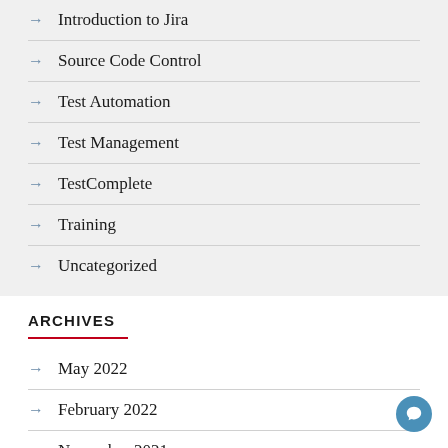→ Introduction to Jira
→ Source Code Control
→ Test Automation
→ Test Management
→ TestComplete
→ Training
→ Uncategorized
ARCHIVES
→ May 2022
→ February 2022
→ November 2021
→ October 2021